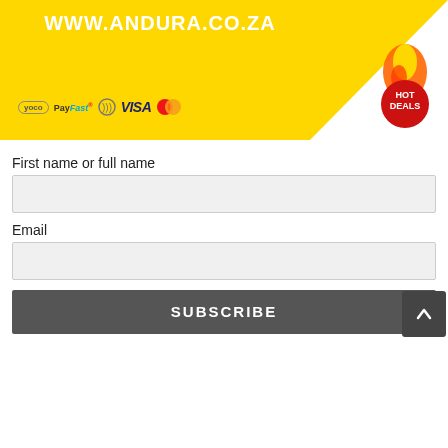[Figure (infographic): Yellow diagonal banner with Andura website URL, payment method logos (Yoco, PayFast, contactless, Visa, Mastercard), and a Hot Deals badge on the right.]
First name or full name
[Figure (other): Empty input field for first name or full name]
Email
[Figure (other): Empty input field for email]
SUBSCRIBE
[Figure (other): Dark grey scroll-to-top button with upward arrow]